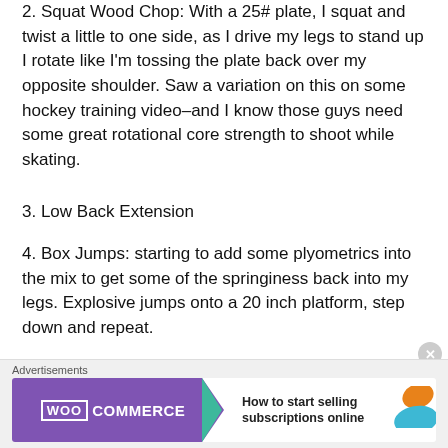2. Squat Wood Chop: With a 25# plate, I squat and twist a little to one side, as I drive my legs to stand up I rotate like I'm tossing the plate back over my opposite shoulder. Saw a variation on this on some hockey training video–and I know those guys need some great rotational core strength to shoot while skating.
3. Low Back Extension
4. Box Jumps: starting to add some plyometrics into the mix to get some of the springiness back into my legs. Explosive jumps onto a 20 inch platform, step down and repeat.
Four rounds through that and my legs were shaking–good
[Figure (other): WooCommerce advertisement banner: 'How to start selling subscriptions online']